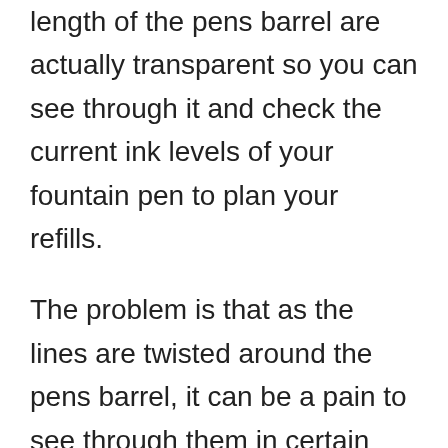length of the pens barrel are actually transparent so you can see through it and check the current ink levels of your fountain pen to plan your refills.
The problem is that as the lines are twisted around the pens barrel, it can be a pain to see through them in certain lighting and although you can usually hold the pen up against a light to check its current ink levels, it is just something that could have easily been avoided by giving the pen a dedicated ink view window. We know that this may seem nit picky due to it being a small thing but we always like to point out the negatives of a pen for our readers but the